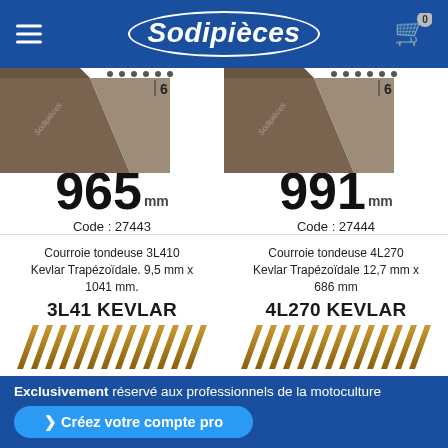Sodipièces
[Figure (photo): V-belt product image showing belt 965mm, Code: 27443]
965 mm
Code : 27443
[Figure (photo): V-belt product image showing belt 991mm, Code: 27444]
991 mm
Code : 27444
Courroie tondeuse 3L410 Kevlar Trapézoïdale. 9,5 mm x 1041 mm.
3L41 KEVLAR
[Figure (photo): Kevlar belt image for 3L41]
Courroie tondeuse 4L270 Kevlar Trapézoïdale 12,7 mm x 686 mm
4L270 KEVLAR
[Figure (photo): Kevlar belt image for 4L270]
Exclusivement réservé aux professionnels de la motoculture
> Créez votre compte pro